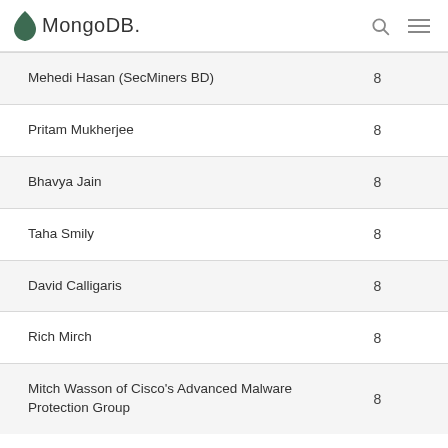MongoDB
| Name | Count |
| --- | --- |
| Mehedi Hasan (SecMiners BD) | 8 |
| Pritam Mukherjee | 8 |
| Bhavya Jain | 8 |
| Taha Smily | 8 |
| David Calligaris | 8 |
| Rich Mirch | 8 |
| Mitch Wasson of Cisco's Advanced Malware Protection Group | 8 |